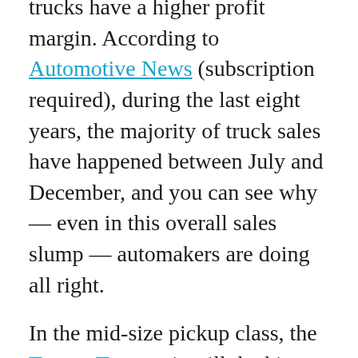trucks have a higher profit margin. According to Automotive News (subscription required), during the last eight years, the majority of truck sales have happened between July and December, and you can see why — even in this overall sales slump — automakers are doing all right.
In the mid-size pickup class, the Toyota Tacoma is still the king, but if you are looking for a good deal, the Nissan Frontier — a solid third-place finisher in the class — is worth a look. We've heard there are some good deals available on the Frontier, which recently scored well in J.D. Power and Associates' 2017 Initial Quality Study. We should also note that the Chevrolet Colorado and GMC Canyon are on a record pace once again. Mid-sizers are hot.